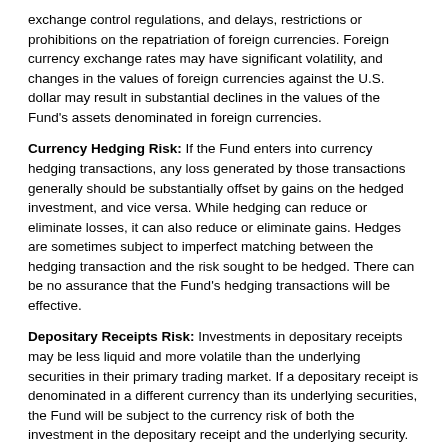exchange control regulations, and delays, restrictions or prohibitions on the repatriation of foreign currencies. Foreign currency exchange rates may have significant volatility, and changes in the values of foreign currencies against the U.S. dollar may result in substantial declines in the values of the Fund's assets denominated in foreign currencies.
Currency Hedging Risk: If the Fund enters into currency hedging transactions, any loss generated by those transactions generally should be substantially offset by gains on the hedged investment, and vice versa. While hedging can reduce or eliminate losses, it can also reduce or eliminate gains. Hedges are sometimes subject to imperfect matching between the hedging transaction and the risk sought to be hedged. There can be no assurance that the Fund's hedging transactions will be effective.
Depositary Receipts Risk: Investments in depositary receipts may be less liquid and more volatile than the underlying securities in their primary trading market. If a depositary receipt is denominated in a different currency than its underlying securities, the Fund will be subject to the currency risk of both the investment in the depositary receipt and the underlying security. Holders of depositary receipts may have limited or no rights to take action with respect to the underlying securities or to compel the issuer of the receipts to take action. The prices of depositary receipts may differ from the prices of securities upon which they are based.
Derivatives Risk: Derivative transactions can create investment